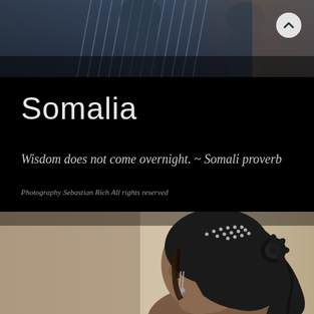[Figure (photo): Top banner photo showing figures in blue-toned decorative or traditional garments, partially visible, used as a header image strip]
Somalia
Wisdom does not come overnight. ~ Somali proverb
Photography Sebastian Rich All rights reserved
[Figure (photo): Portrait photo of a young Somali girl in profile view, wearing an ornate black headscarf decorated with silver studs and dangling silver earrings, against a warm beige background]